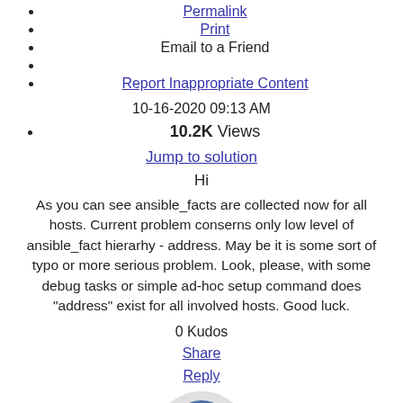Permalink
Print
Email to a Friend
Report Inappropriate Content
10-16-2020 09:13 AM
10.2K Views
Jump to solution
Hi
As you can see ansible_facts are collected now for all hosts. Current problem conserns only low level of ansible_fact hierarhy - address. May be it is some sort of typo or more serious problem. Look, please, with some debug tasks or simple ad-hoc setup command does "address" exist for all involved hosts. Good luck.
0 Kudos
Share
Reply
[Figure (illustration): User avatar: gray semicircle background with dark blue profile icon]